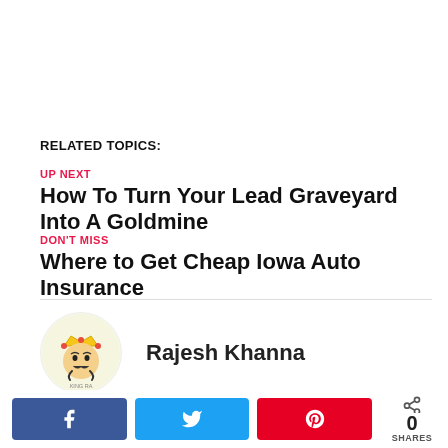RELATED TOPICS:
UP NEXT
How To Turn Your Lead Graveyard Into A Goldmine
DON'T MISS
Where to Get Cheap Iowa Auto Insurance
[Figure (illustration): Author avatar: cartoon king character with crown and mustache, circular logo with text 'KING RA']
Rajesh Khanna
ADVERTISEMENT
0 SHARES